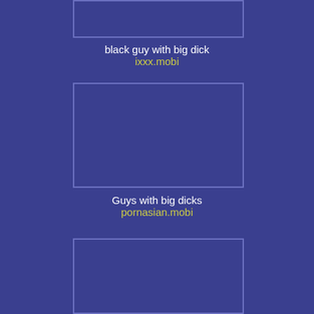[Figure (other): Thumbnail image placeholder box at top]
black guy with big dick
ixxx.mobi
[Figure (other): Thumbnail image placeholder box in middle]
Guys with big dicks
pornasian.mobi
[Figure (other): Thumbnail image placeholder box at bottom]